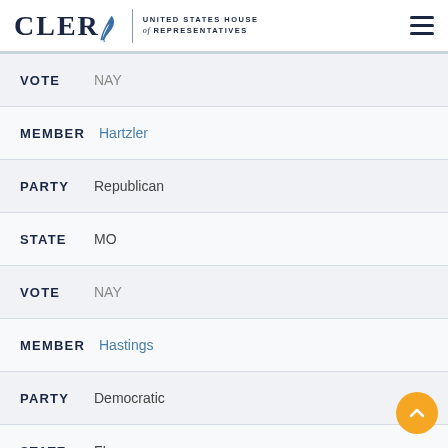CLERK United States House of Representatives
VOTE NAY
MEMBER Hartzler
PARTY Republican
STATE MO
VOTE NAY
MEMBER Hastings
PARTY Democratic
STATE FL (partial)